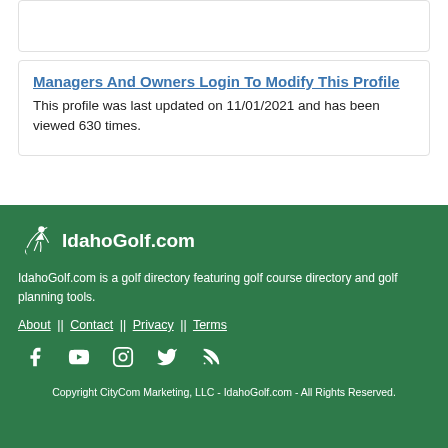Managers And Owners Login To Modify This Profile
This profile was last updated on 11/01/2021 and has been viewed 630 times.
[Figure (logo): IdahoGolf.com logo with golfer icon and white text]
IdahoGolf.com is a golf directory featuring golf course directory and golf planning tools.
About  ||  Contact  ||  Privacy  ||  Terms
[Figure (infographic): Social media icons: Facebook, YouTube, Instagram, Twitter, RSS]
Copyright CityCom Marketing, LLC - IdahoGolf.com - All Rights Reserved.